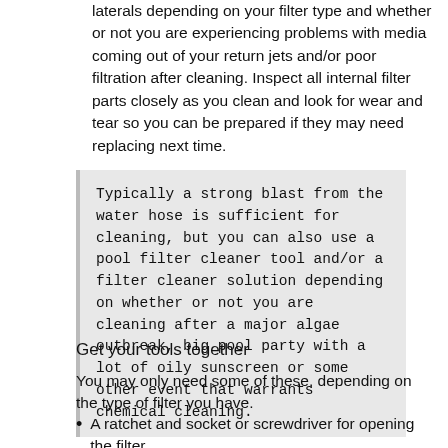laterals depending on your filter type and whether or not you are experiencing problems with media coming out of your return jets and/or poor filtration after cleaning. Inspect all internal filter parts closely as you clean and look for wear and tear so you can be prepared if they may need replacing next time.
Typically a strong blast from the water hose is sufficient for cleaning, but you can also use a pool filter cleaner tool and/or a filter cleaner solution depending on whether or not you are cleaning after a major algae outbreak, big pool party with a lot of oily sunscreen or some other event that warrants chemical cleaning.
Get your tools together
You may only need some of these, depending on the type of filter you have.
A ratchet and socket or screwdriver for opening the filter.